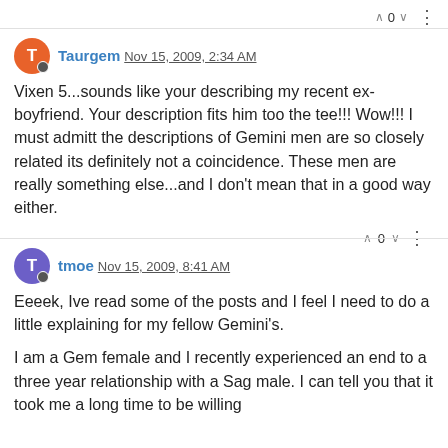Taurgem Nov 15, 2009, 2:34 AM
Vixen 5...sounds like your describing my recent ex-boyfriend. Your description fits him too the tee!!! Wow!!! I must admitt the descriptions of Gemini men are so closely related its definitely not a coincidence. These men are really something else...and I don't mean that in a good way either.
tmoe Nov 15, 2009, 8:41 AM
Eeeek, Ive read some of the posts and I feel I need to do a little explaining for my fellow Gemini's.

I am a Gem female and I recently experienced an end to a three year relationship with a Sag male. I can tell you that it took me a long time to be willing